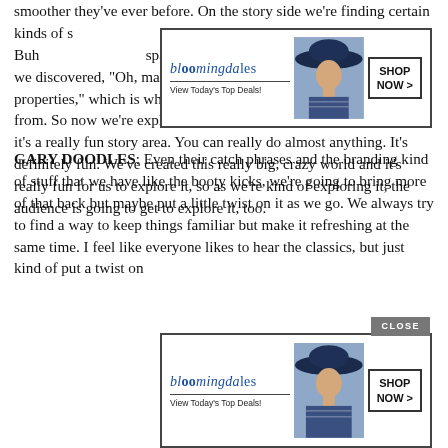smoother they've ever before. On the story side we're finding certain kinds of s...ySway and Buh... spaghetti bread and jelly-filled alfalfa. Then we discovered, “Oh, maybe the bread is magical and has magical properties,” which is where “Love Loaf” and “Stank Breath” came from. So now we’re exploring more magical types of bread because it’s a really fun story area. You can really do almost anything. It’s definitely fun. We’ve created this really big, crazy world and it’s really fun for us to explore it, so as we’re kind of exploring it, the audience is going to get to explore it, too.
[Figure (screenshot): Bloomingdale's advertisement banner - top position. Shows bloomingdales logo in blue italic text, 'View Today's Top Deals!' tagline, a woman with a wide brimmed blue hat, and a 'SHOP NOW >' button.]
GARY DOODLES: Even their catch phrases and the branding kind of stuff that we have like the booty kicks, we’re going to bring more of that back but maybe put a little twist on it as we go. We always try to find a way to keep things familiar but make it refreshing at the same time. I feel like everyone likes to hear the classics, but just kind of put a twist on...
[Figure (screenshot): Bloomingdale's advertisement banner - bottom position with CLOSE button. Shows bloomingdales logo in blue italic text, 'View Today's Top Deals!' tagline, a woman with a wide brimmed blue hat, and a 'SHOP NOW >' button. A gray CLOSE button overlaps the top right.]